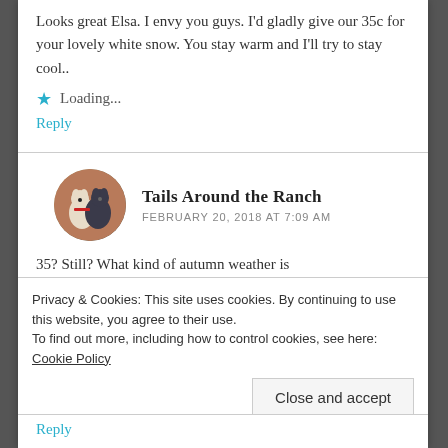Looks great Elsa. I envy you guys. I'd gladly give our 35c for your lovely white snow. You stay warm and I'll try to stay cool..
★ Loading...
Reply
[Figure (photo): Circular avatar showing two dogs sitting together against a brick wall background]
Tails Around the Ranch
FEBRUARY 20, 2018 AT 7:09 AM
35? Still? What kind of autumn weather is
Privacy & Cookies: This site uses cookies. By continuing to use this website, you agree to their use.
To find out more, including how to control cookies, see here: Cookie Policy
Close and accept
Reply